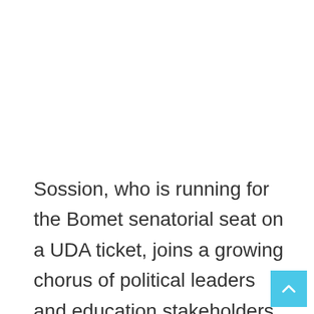Sossion, who is running for the Bomet senatorial seat on a UDA ticket, joins a growing chorus of political leaders and education stakeholders urging the government to halt implementation of the CBC.